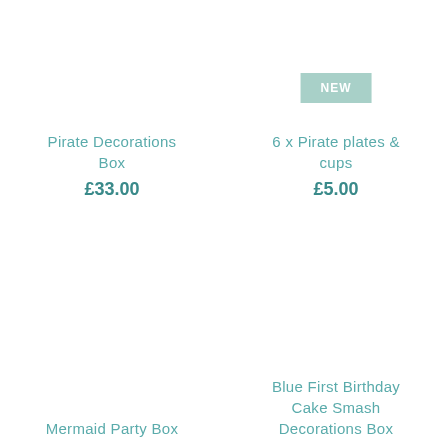Pirate Decorations Box
£33.00
6 x Pirate plates & cups
£5.00
NEW
Mermaid Party Box
from £48.00
Blue First Birthday Cake Smash Decorations Box
£12.99